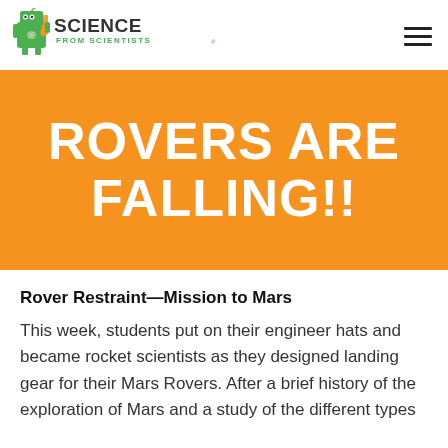SCIENCE FROM SCIENTISTS®
ROVERS ARE FALLING!!
Rover Restraint—Mission to Mars
This week, students put on their engineer hats and became rocket scientists as they designed landing gear for their Mars Rovers. After a brief history of the exploration of Mars and a study of the different types